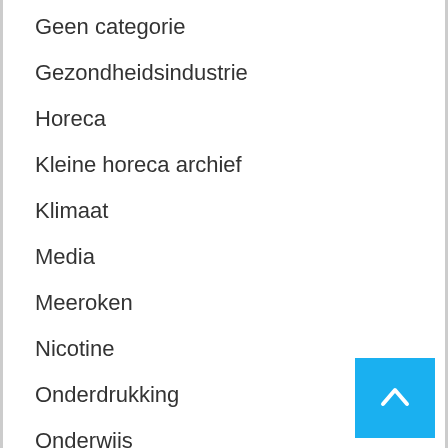Geen categorie
Gezondheidsindustrie
Horeca
Kleine horeca archief
Klimaat
Media
Meeroken
Nicotine
Onderdrukking
Onderwijs
Onderzoeken
Overheid
Politiek